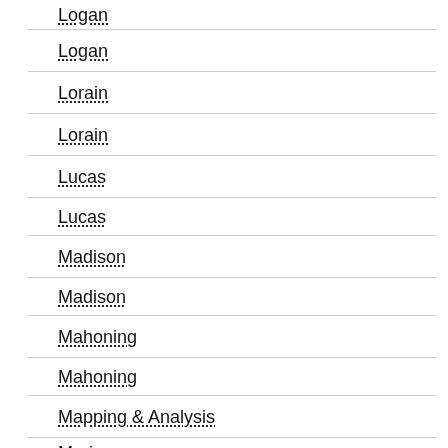Logan
Logan
Lorain
Lorain
Lucas
Lucas
Madison
Madison
Mahoning
Mahoning
Mapping & Analysis
Marion